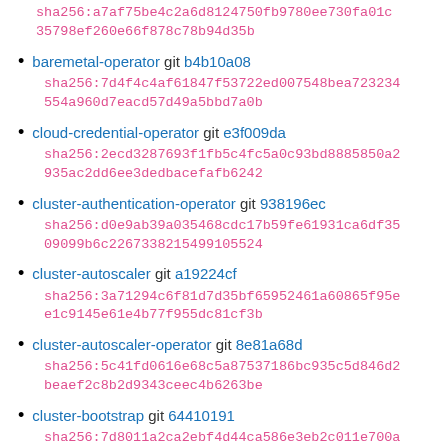sha256:a7af75be4c2a6d8124750fb9780ee730fa01c35798ef260e66f878c78b94d35b
baremetal-operator git b4b10a08
sha256:7d4f4c4af61847f53722ed007548bea723234554a960d7eacd57d49a5bbd7a0b
cloud-credential-operator git e3f009da
sha256:2ecd3287693f1fb5c4fc5a0c93bd8885850a2935ac2dd6ee3dedbacefafb6242
cluster-authentication-operator git 938196ec
sha256:d0e9ab39a035468cdc17b59fe61931ca6df3509099b6c2267338215499105524
cluster-autoscaler git a19224cf
sha256:3a71294c6f81d7d35bf65952461a60865f95ee1c9145e61e4b77f955dc81cf3b
cluster-autoscaler-operator git 8e81a68d
sha256:5c41fd0616e68c5a87537186bc935c5d846d2beaef2c8b2d9343ceec4b6263be
cluster-bootstrap git 64410191
sha256:7d8011a2ca2ebf4d44ca586e3eb2c011e700a